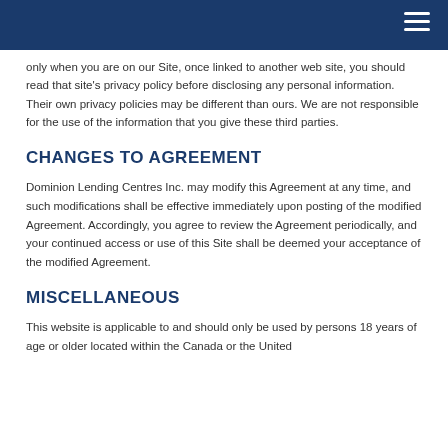only when you are on our Site, once linked to another web site, you should read that site's privacy policy before disclosing any personal information. Their own privacy policies may be different than ours. We are not responsible for the use of the information that you give these third parties.
CHANGES TO AGREEMENT
Dominion Lending Centres Inc. may modify this Agreement at any time, and such modifications shall be effective immediately upon posting of the modified Agreement. Accordingly, you agree to review the Agreement periodically, and your continued access or use of this Site shall be deemed your acceptance of the modified Agreement.
MISCELLANEOUS
This website is applicable to and should only be used by persons 18 years of age or older located within the Canada or the United